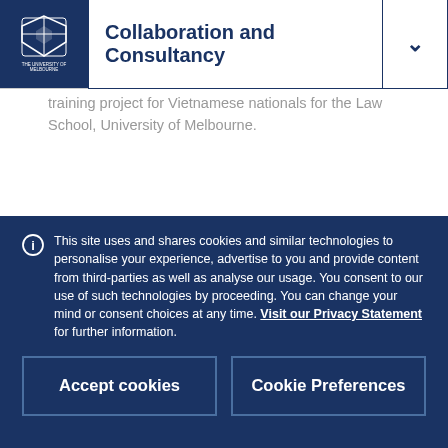Collaboration and Consultancy
training project for Vietnamese nationals for the Law School, University of Melbourne.
Those interested in discussing consultancy or collaborative projects are invited to contact the Director, Professor Adrienne Stone.
This site uses and shares cookies and similar technologies to personalise your experience, advertise to you and provide content from third-parties as well as analyse our usage. You consent to our use of such technologies by proceeding. You can change your mind or consent choices at any time. Visit our Privacy Statement for further information.